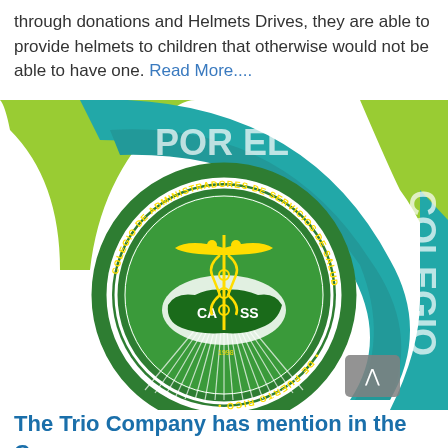through donations and Helmets Drives, they are able to provide helmets to children that otherwise would not be able to have one. Read More....
[Figure (logo): Colegio de Administradores de Servicios de Salud de Puerto Rico (CASS) logo, a circular emblem in green and yellow with a caduceus symbol over a map of Puerto Rico, set against a background with teal and lime green curved shapes spelling 'POR EL COLEGIO']
The Trio Company has mention in the Cass